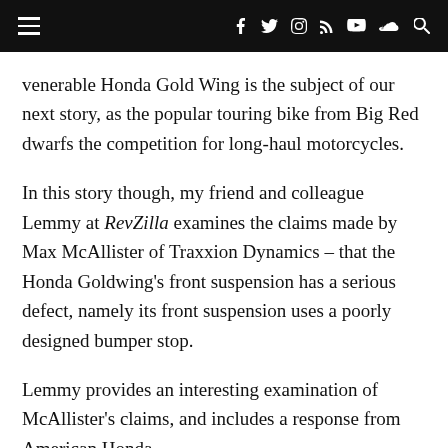[navigation bar with hamburger menu and social icons]
venerable Honda Gold Wing is the subject of our next story, as the popular touring bike from Big Red dwarfs the competition for long-haul motorcycles.
In this story though, my friend and colleague Lemmy at RevZilla examines the claims made by Max McAllister of Traxxion Dynamics – that the Honda Goldwing's front suspension has a serious defect, namely its front suspension uses a poorly designed bumper stop.
Lemmy provides an interesting examination of McAllister's claims, and includes a response from American Honda.